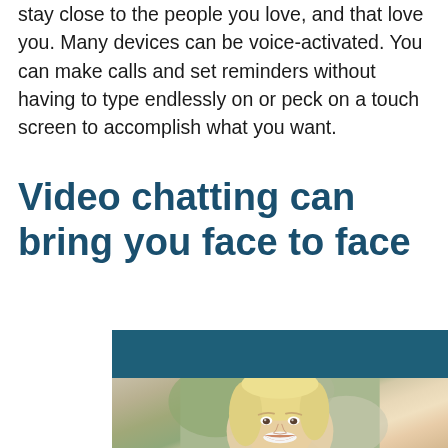stay close to the people you love, and that love you. Many devices can be voice-activated. You can make calls and set reminders without having to type endlessly on or peck on a touch screen to accomplish what you want.
Video chatting can bring you face to face
[Figure (photo): An older blonde woman smiling, shown from shoulders up, with a teal/dark blue header bar above the photo. Background is softly blurred with greenery.]